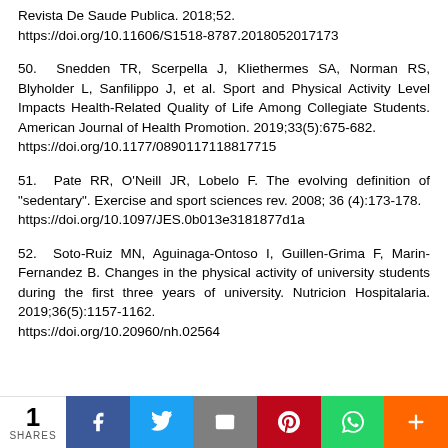Revista De Saude Publica. 2018;52. https://doi.org/10.11606/S1518-8787.2018052017173
50. Snedden TR, Scerpella J, Kliethermes SA, Norman RS, Blyholder L, Sanfilippo J, et al. Sport and Physical Activity Level Impacts Health-Related Quality of Life Among Collegiate Students. American Journal of Health Promotion. 2019;33(5):675-682. https://doi.org/10.1177/0890117118817715
51. Pate RR, O'Neill JR, Lobelo F. The evolving definition of "sedentary". Exercise and sport sciences rev. 2008; 36 (4):173-178. https://doi.org/10.1097/JES.0b013e3181877d1a
52. Soto-Ruiz MN, Aguinaga-Ontoso I, Guillen-Grima F, Marin-Fernandez B. Changes in the physical activity of university students during the first three years of university. Nutricion Hospitalaria. 2019;36(5):1157-1162. https://doi.org/10.20960/nh.02564